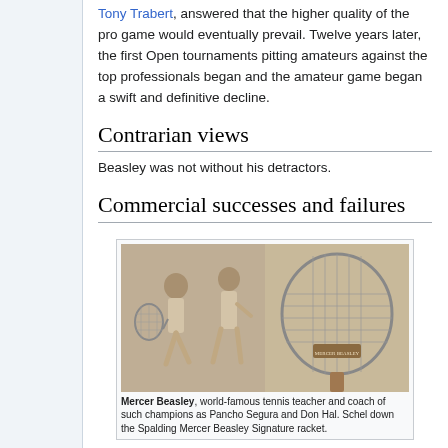Tony Trabert, answered that the higher quality of the pro game would eventually prevail. Twelve years later, the first Open tournaments pitting amateurs against the top professionals began and the amateur game began a swift and definitive decline.
Contrarian views
Beasley was not without his detractors.
Commercial successes and failures
[Figure (photo): Vintage advertisement or magazine clipping showing Mercer Beasley, world-famous tennis teacher and coach, alongside a Spalding Mercer Beasley Signature racket. Two tennis players are depicted on the left side of the image.]